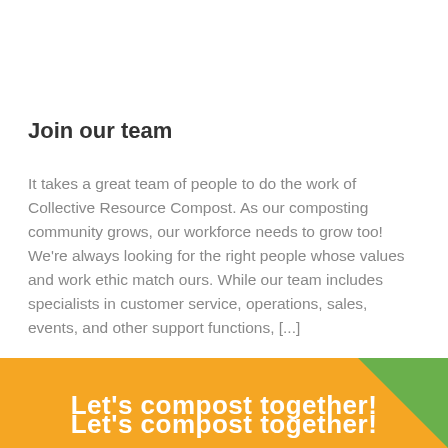Join our team
It takes a great team of people to do the work of Collective Resource Compost. As our composting community grows, our workforce needs to grow too! We're always looking for the right people whose values and work ethic match ours. While our team includes specialists in customer service, operations, sales, events, and other support functions, [...]
Let's compost together!